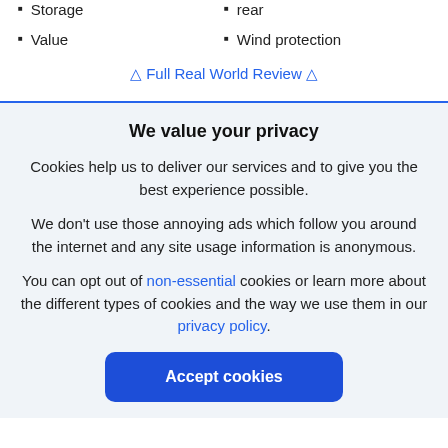Storage
Value
rear
Wind protection
◁ Full Real World Review ▷
We value your privacy
Cookies help us to deliver our services and to give you the best experience possible.
We don't use those annoying ads which follow you around the internet and any site usage information is anonymous.
You can opt out of non-essential cookies or learn more about the different types of cookies and the way we use them in our privacy policy.
Accept cookies